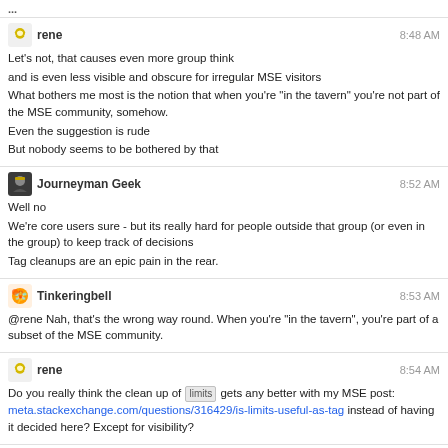rene 8:48 AM
Let's not, that causes even more group think
and is even less visible and obscure for irregular MSE visitors
What bothers me most is the notion that when you're "in the tavern" you're not part of the MSE community, somehow.
Even the suggestion is rude
But nobody seems to be bothered by that
Journeyman Geek 8:52 AM
Well no
We're core users sure - but its really hard for people outside that group (or even in the group) to keep track of decisions
Tag cleanups are an epic pain in the rear.
Tinkeringbell 8:53 AM
@rene Nah, that's the wrong way round. When you're "in the tavern", you're part of a subset of the MSE community.
rene 8:54 AM
Do you really think the clean up of [limits] gets any better with my MSE post: meta.stackexchange.com/questions/316429/is-limits-useful-as-tag instead of having it decided here? Except for visibility?
Journeyman Geek 8:55 AM
@rene visibility is pretty much the one arguement against doing things on here.
There's discussion, there's something for us to point at...